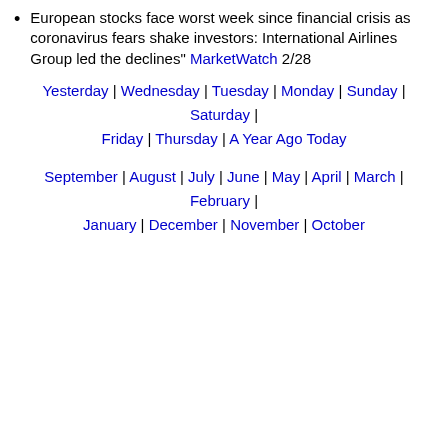European stocks face worst week since financial crisis as coronavirus fears shake investors: International Airlines Group led the declines" MarketWatch 2/28
Yesterday | Wednesday | Tuesday | Monday | Sunday | Saturday | Friday | Thursday | A Year Ago Today
September | August | July | June | May | April | March | February | January | December | November | October